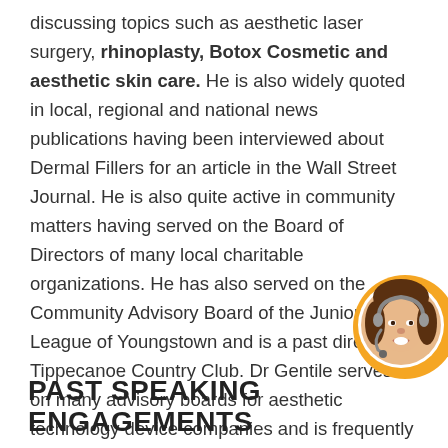discussing topics such as aesthetic laser surgery, rhinoplasty, Botox Cosmetic and aesthetic skin care. He is also widely quoted in local, regional and national news publications having been interviewed about Dermal Fillers for an article in the Wall Street Journal. He is also quite active in community matters having served on the Board of Directors of many local charitable organizations. He has also served on the Community Advisory Board of the Junior League of Youngstown and is a past director of Tippecanoe Country Club. Dr Gentile serves on many advisory boards for aesthetic technology device companies and is frequently involved in developing new technologies that improve care in aesthetic procedures.
[Figure (photo): Circular photo of a woman wearing a headset, set against an orange/yellow circular background, positioned in the lower right corner of the page.]
PAST SPEAKING ENGAGEMENTS